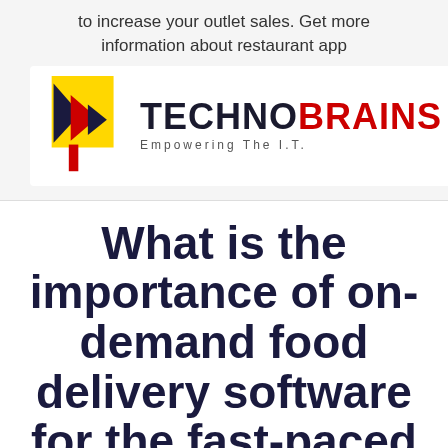to increase your outlet sales. Get more information about restaurant app
[Figure (logo): TechnoBrains logo with geometric arrow/triangle icon in yellow, red and navy, and text 'TECHNOBRAINS Empowering The I.T.']
What is the importance of on-demand food delivery software for the fast-paced food industry?